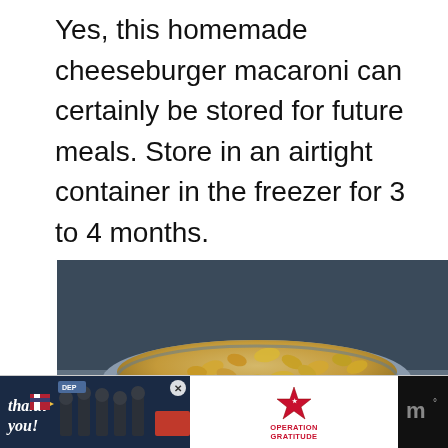Yes, this homemade cheeseburger macaroni can certainly be stored for future meals. Store in an airtight container in the freezer for 3 to 4 months.
[Figure (photo): A gray bowl filled with cheeseburger macaroni, photographed close up with a blurred background. Social media UI overlaid: heart button (blue circle), count '5', share button. 'What's Next' card showing Red Lobster Cheddar Ba... thumbnail.]
[Figure (screenshot): Advertisement strip at the bottom: 'Thank you!' with American flag pencil graphic, firefighters photo, 'Operation Gratitude' logo with star, close X button, weather channel logo with degree symbol.]